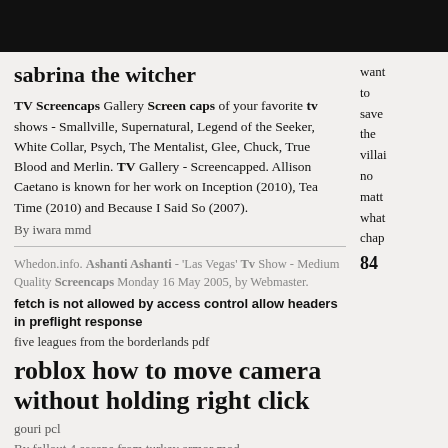sabrina the witcher
TV Screencaps Gallery Screen caps of your favorite tv shows - Smallville, Supernatural, Legend of the Seeker, White Collar, Psych, The Mentalist, Glee, Chuck, True Blood and Merlin. TV Gallery - Screencapped. Allison Caetano is known for her work on Inception (2010), Tea Time (2010) and Because I Said So (2007).
By iwara mmd
Whedon.info. Ashanti Ashanti - 'Las Vegas' Tv Show - Medium Quality Screencaps Monday 16 May 2005, by Webmaster.
fetch is not allowed by access control allow headers in preflight response
five leagues from the borderlands pdf
roblox how to move camera without holding right click
gouri pcl
By fallout 4 escape from turkey armor mod
want to save the villain no matter what chap 84